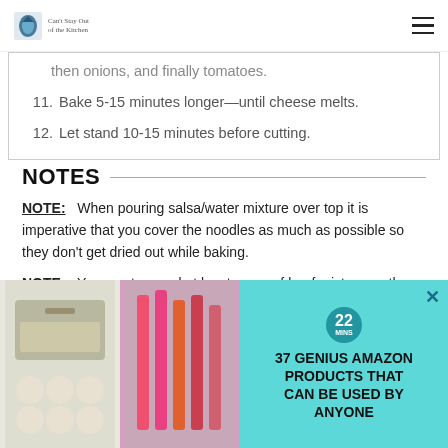Can't Stay Out of the Kitchen
then onions, and finally tomatoes.
11. Bake 5-15 minutes longer—until cheese melts.
12. Let stand 10-15 minutes before cutting.
NOTES
NOTE:   When pouring salsa/water mixture over top it is imperative that you cover the noodles as much as possible so they don't get dried out while baking.
NOTE:   You must spread at least a cup of beef mixture on the bottom of the baking dish or the noodles will stick to the bottom of the pan.
NOTE:   You can use enchilada sauce with the salsa pour over...
NOTE:   ...add additional...cas...
[Figure (advertisement): Ad overlay showing baking images and text '37 GENIUS AMAZON PRODUCTS THAT CAN BE USED BY ANYONE' with teal background and CLOSE button]